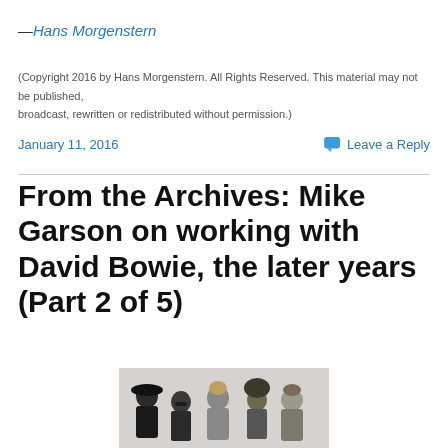—Hans Morgenstern
(Copyright 2016 by Hans Morgenstern. All Rights Reserved. This material may not be published, broadcast, rewritten or redistributed without permission.)
January 11, 2016    Leave a Reply
From the Archives: Mike Garson on working with David Bowie, the later years (Part 2 of 5)
[Figure (photo): Black and white photo of a band group of five people, including David Bowie, posed together]